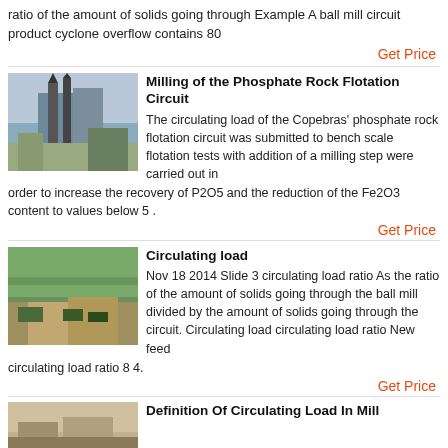ratio of the amount of solids going through Example A ball mill circuit product cyclone overflow contains 80
Get Price
Milling of the Phosphate Rock Flotation Circuit
The circulating load of the Copebras' phosphate rock flotation circuit was submitted to bench scale flotation tests with addition of a milling step were carried out in order to increase the recovery of P2O5 and the reduction of the Fe2O3 content to values below 5 .
Get Price
Circulating load
Nov 18 2014  Slide 3 circulating load ratio As the ratio of the amount of solids going through the ball mill divided by the amount of solids going through the circuit. Circulating load circulating load ratio New feed circulating load ratio 8 4.
Get Price
Definition Of Circulating Load In Mill